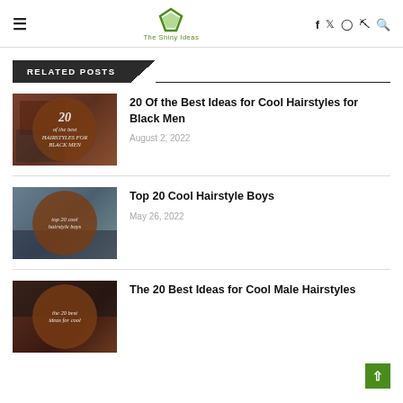≡  The Shiny Ideas  f  ✦  ⊡  ⊛  🔍
RELATED POSTS
[Figure (photo): Thumbnail image for article about cool hairstyles for black men, showing a collage with circular brown overlay]
20 Of the Best Ideas for Cool Hairstyles for Black Men
August 2, 2022
[Figure (photo): Thumbnail image for Top 20 Cool Hairstyle Boys article with circular brown overlay]
Top 20 Cool Hairstyle Boys
May 26, 2022
[Figure (photo): Thumbnail image for The 20 Best Ideas for Cool Male Hairstyles article with circular brown overlay]
The 20 Best Ideas for Cool Male Hairstyles